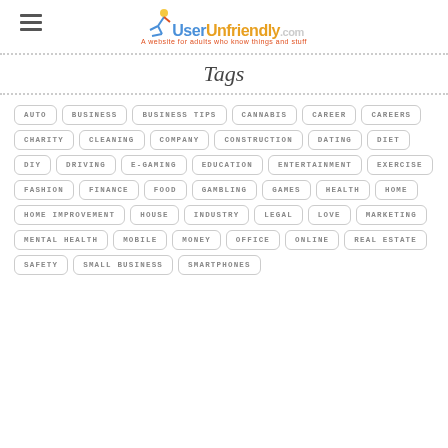UserUnfriendly - Tags
Tags
AUTO
BUSINESS
BUSINESS TIPS
CANNABIS
CAREER
CAREERS
CHARITY
CLEANING
COMPANY
CONSTRUCTION
DATING
DIET
DIY
DRIVING
E-GAMING
EDUCATION
ENTERTAINMENT
EXERCISE
FASHION
FINANCE
FOOD
GAMBLING
GAMES
HEALTH
HOME
HOME IMPROVEMENT
HOUSE
INDUSTRY
LEGAL
LOVE
MARKETING
MENTAL HEALTH
MOBILE
MONEY
OFFICE
ONLINE
REAL ESTATE
SAFETY
SMALL BUSINESS
SMARTPHONES